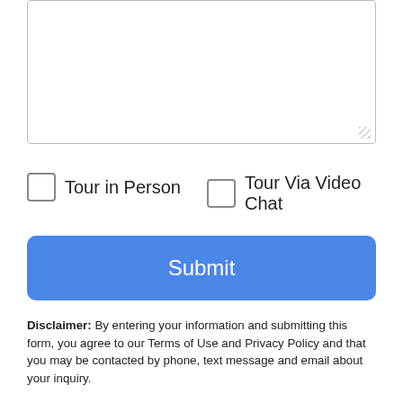[Figure (screenshot): Text area input box with resize handle in bottom-right corner]
Tour in Person
Tour Via Video Chat
Submit
Disclaimer: By entering your information and submitting this form, you agree to our Terms of Use and Privacy Policy and that you may be contacted by phone, text message and email about your inquiry.
[Figure (logo): MLS GRID logo with colored stacked diamond shapes]
Based on information submitted to the MLS GRID as of 2022-08-24T08:33:37.663 UTC. All data is obtained from various sources and may not have been verified by broker or MLS
Take a Tour
Ask A Question